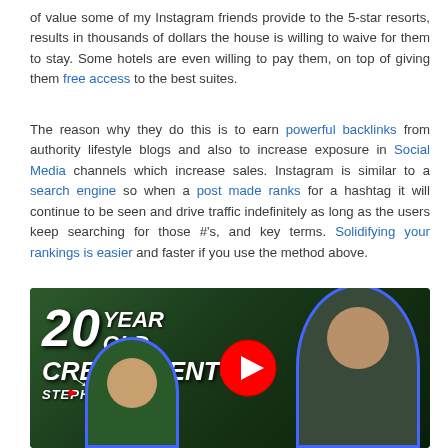of value some of my Instagram friends provide to the 5-star resorts, results in thousands of dollars the house is willing to waive for them to stay. Some hotels are even willing to pay them, on top of giving them free access to the best suites.
The reason why they do this is to earn powerful backlinks from authority lifestyle blogs and also to increase exposure in Social Media channels which increase sales. Instagram is similar to a search engine so when a post made ranks for a hashtag it will continue to be seen and drive traffic indefinitely as long as the users keep searching for those #'s, and key terms. Solidifying your rankings is easier and faster if you use the method above.
[Figure (screenshot): YouTube video thumbnail showing two people with blue glow outlines against a dark green background. Text reads '20 YEAR OLD CREDIT MENTOR STEPHEN' in bold italic white font with a YouTube play button in the center. Red arrows point to each person.]